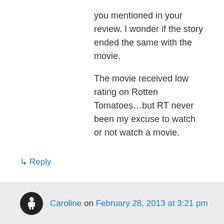you mentioned in your review. I wonder if the story ended the same with the movie.
The movie received low rating on Rotten Tomatoes…but RT never been my excuse to watch or not watch a movie.
↳ Reply
Caroline on February 28, 2013 at 3:21 pm
I would still like to watch it. It had a few quite funny moments, not laugh out loud funny but amusing. Those prostitutes were a handfull. The ending is harrowing, it saddened me a lot.
↳ Reply